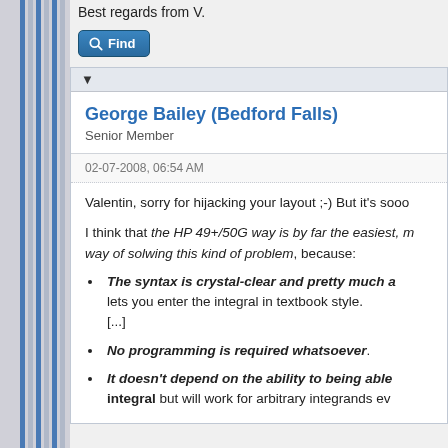Best regards from V.
[Figure (screenshot): A blue 'Find' button with a magnifying glass icon]
▼
George Bailey (Bedford Falls)
Senior Member
02-07-2008, 06:54 AM
Valentin, sorry for hijacking your layout ;-) But it's sooo
I think that the HP 49+/50G way is by far the easiest, m way of solwing this kind of problem, because:
The syntax is crystal-clear and pretty much a lets you enter the integral in textbook style. [...]
No programming is required whatsoever.
It doesn't depend on the ability to being able integral but will work for arbitrary integrands ev